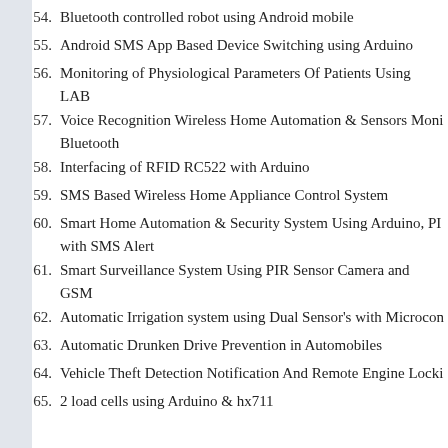54. Bluetooth controlled robot using Android mobile
55. Android SMS App Based Device Switching using Arduino
56. Monitoring of Physiological Parameters Of Patients Using LAB
57. Voice Recognition Wireless Home Automation & Sensors Monitoring Bluetooth
58. Interfacing of RFID RC522 with Arduino
59. SMS Based Wireless Home Appliance Control System
60. Smart Home Automation & Security System Using Arduino, PIR with SMS Alert
61. Smart Surveillance System Using PIR Sensor Camera and GSM
62. Automatic Irrigation system using Dual Sensor's with Microcontroller
63. Automatic Drunken Drive Prevention in Automobiles
64. Vehicle Theft Detection Notification And Remote Engine Locking
65. 2 load cells using Arduino & hx711